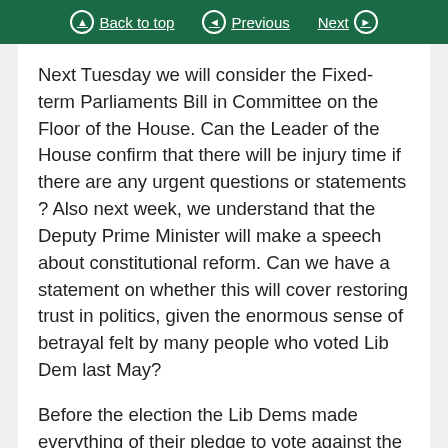Back to top | Previous | Next
Next Tuesday we will consider the Fixed-term Parliaments Bill in Committee on the Floor of the House. Can the Leader of the House confirm that there will be injury time if there are any urgent questions or statements ? Also next week, we understand that the Deputy Prime Minister will make a speech about constitutional reform. Can we have a statement on whether this will cover restoring trust in politics, given the enormous sense of betrayal felt by many people who voted Lib Dem last May?
Before the election the Lib Dems made everything of their pledge to vote against the lifting of the cap on tuition fees, but after the election they could not